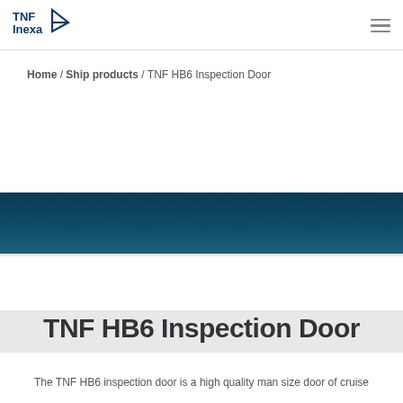TNF Inexa — navigation header with logo and hamburger menu
Home / Ship products / TNF HB6 Inspection Door
[Figure (other): Dark teal/navy banner image area with a lighter grey section below — product hero image placeholder]
TNF HB6 Inspection Door
The TNF HB6 inspection door is a high quality man size door of cruise